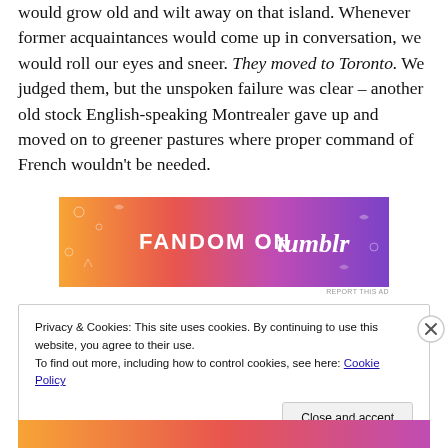would grow old and wilt away on that island. Whenever former acquaintances would come up in conversation, we would roll our eyes and sneer. They moved to Toronto. We judged them, but the unspoken failure was clear – another old stock English-speaking Montrealer gave up and moved on to greener pastures where proper command of French wouldn't be needed.
[Figure (other): Fandom on Tumblr advertisement banner with colorful orange-to-purple gradient background and decorative doodles]
Privacy & Cookies: This site uses cookies. By continuing to use this website, you agree to their use.
To find out more, including how to control cookies, see here: Cookie Policy